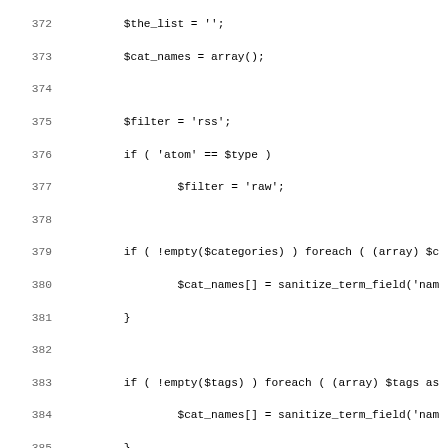[Figure (screenshot): Source code listing showing PHP code lines 372-403, with line numbers on the left and code on the right in monospace font.]